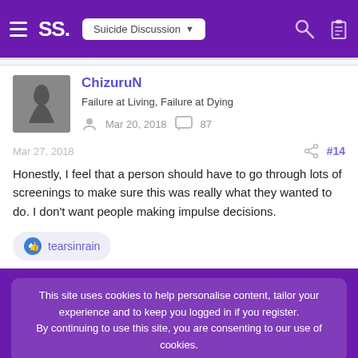SS. Suicide Discussion
ChizuruN
Failure at Living, Failure at Dying
Mar 20, 2018  87
Mar 27, 2018  #14
Honestly, I feel that a person should have to go through lots of screenings to make sure this was really what they wanted to do. I don't want people making impulse decisions.
tearsinrain
This site uses cookies to help personalise content, tailor your experience and to keep you logged in if you register.
By continuing to use this site, you are consenting to our use of cookies.
Accept  Learn more…